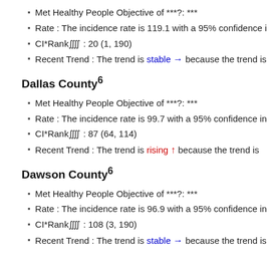Met Healthy People Objective of ***?: ***
Rate : The incidence rate is 119.1 with a 95% confidence i
CI*Rank⋈ : 20 (1, 190)
Recent Trend : The trend is stable → because the trend is
Dallas County⁶
Met Healthy People Objective of ***?: ***
Rate : The incidence rate is 99.7 with a 95% confidence in
CI*Rank⋈ : 87 (64, 114)
Recent Trend : The trend is rising ↑ because the trend is
Dawson County⁶
Met Healthy People Objective of ***?: ***
Rate : The incidence rate is 96.9 with a 95% confidence in
CI*Rank⋈ : 108 (3, 190)
Recent Trend : The trend is stable → because the trend is